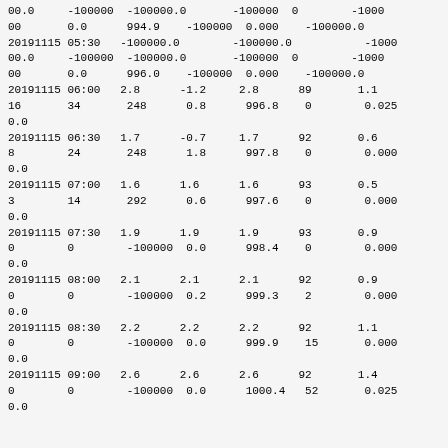| 00.0 | -100000 | -100000.0 |  | -100000 | 0 |  | -1000 |
| 00 | 0.0 | 994.9 | -100000 | 0.000 | -100000.0 |  |  |
| 20191115 05:30 | -100000.0 |  | -100000.0 |  | -1000 |  |  |
| 00.0 | -100000 | -100000.0 |  | -100000 | 0 |  | -1000 |
| 00 | 0.0 | 996.0 | -100000 | 0.000 | -100000.0 |  |  |
| 20191115 06:00 | 2.8 | -1.2 | 2.8 | 89 | 1.1 |  |  |
| 16 | 34 | 248 | 0.8 | 996.8 | 0 | 0.025 |  |
| 0.0 |  |  |  |  |  |  |  |
| 20191115 06:30 | 1.7 | -0.7 | 1.7 | 92 | 0.6 |  |  |
| 8 | 24 | 248 | 1.8 | 997.8 | 0 | 0.000 |  |
| 0.0 |  |  |  |  |  |  |  |
| 20191115 07:00 | 1.6 | 1.6 | 1.6 | 93 | 0.5 |  |  |
| 3 | 14 | 292 | 0.6 | 997.6 | 0 | 0.000 |  |
| 0.0 |  |  |  |  |  |  |  |
| 20191115 07:30 | 1.9 | 1.9 | 1.9 | 93 | 0.9 |  |  |
| 0 | 0 | -100000 | 0.0 | 998.4 | 0 | 0.000 |  |
| 0.0 |  |  |  |  |  |  |  |
| 20191115 08:00 | 2.1 | 2.1 | 2.1 | 92 | 0.9 |  |  |
| 0 | 0 | -100000 | 0.2 | 999.3 | 2 | 0.000 |  |
| 0.0 |  |  |  |  |  |  |  |
| 20191115 08:30 | 2.2 | 2.2 | 2.2 | 92 | 1.1 |  |  |
| 0 | 0 | -100000 | 0.0 | 999.9 | 15 | 0.000 |  |
| 0.0 |  |  |  |  |  |  |  |
| 20191115 09:00 | 2.6 | 2.6 | 2.6 | 92 | 1.4 |  |  |
| 0 | 0 | -100000 | 0.0 | 1000.4 | 52 | 0.025 |  |
| 0.0 |  |  |  |  |  |  |  |